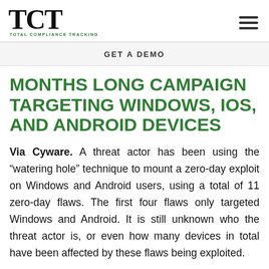TCT TOTAL COMPLIANCE TRACKING
GET A DEMO
MONTHS LONG CAMPAIGN TARGETING WINDOWS, IOS, AND ANDROID DEVICES
Via Cyware. A threat actor has been using the “watering hole” technique to mount a zero-day exploit on Windows and Android users, using a total of 11 zero-day flaws. The first four flaws only targeted Windows and Android. It is still unknown who the threat actor is, or even how many devices in total have been affected by these flaws being exploited.